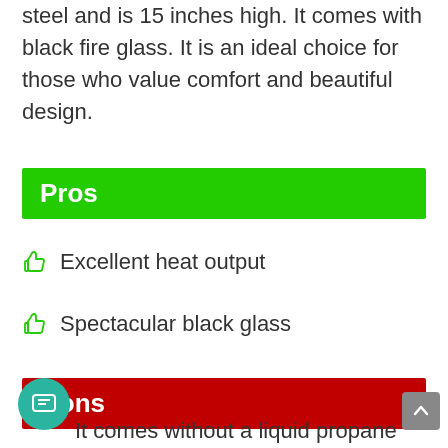steel and is 15 inches high. It comes with black fire glass. It is an ideal choice for those who value comfort and beautiful design.
Pros
Excellent heat output
Spectacular black glass
Cons
It comes without a liquid propane tank